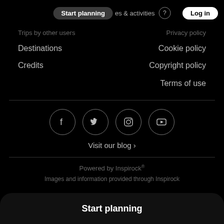Start planning   places & activities   Log in
Trips by other users   Privacy policy
Destinations   Cookie policy
Credits   Copyright policy
Terms of use
[Figure (other): Four social media icons in circles: Facebook, Twitter, Instagram, YouTube]
Visit our blog ›
Powered by Inspirock®
Images and information provided through Inspirock
Start planning